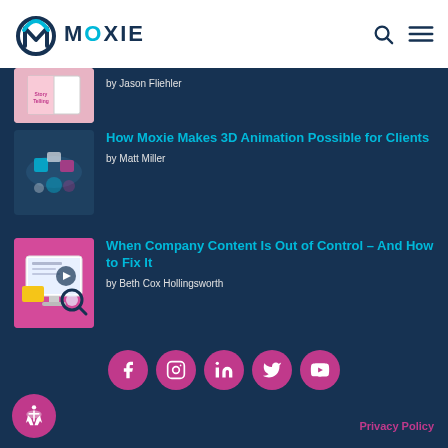[Figure (logo): Moxie logo with circular M icon and MOXIE wordmark in dark navy and cyan]
[Figure (illustration): Story Telling book cover thumbnail with pink/book imagery]
by Jason Fliehler
[Figure (illustration): 3D animation isometric illustration thumbnail]
How Moxie Makes 3D Animation Possible for Clients
by Matt Miller
[Figure (illustration): Content management illustration with monitor and documents thumbnail]
When Company Content Is Out of Control – And How to Fix It
by Beth Cox Hollingsworth
[Figure (infographic): Social media icons row: Facebook, Instagram, LinkedIn, Twitter, YouTube in pink circles]
Privacy Policy